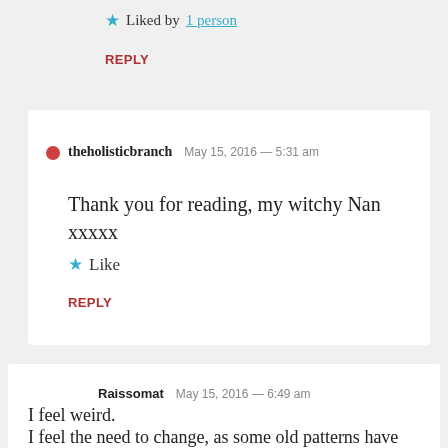★ Liked by 1 person
REPLY
theholisticbranch  May 15, 2016 — 5:31 am
Thank you for reading, my witchy Nan xxxxx
★ Like
REPLY
Raissomat  May 15, 2016 — 6:49 am
I feel weird.
I feel the need to change, as some old patterns have showed themselves. I feel the dump right there